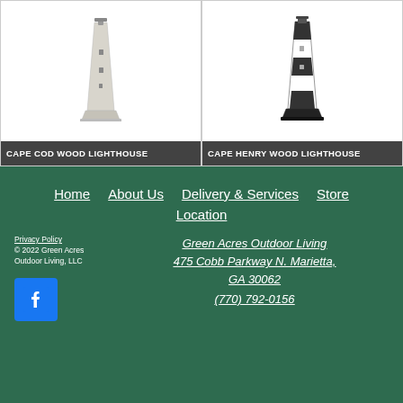[Figure (photo): Cape Cod Wood Lighthouse product image - white/beige lighthouse on white background]
CAPE COD WOOD LIGHTHOUSE
[Figure (photo): Cape Henry Wood Lighthouse product image - black and white lighthouse on white background]
CAPE HENRY WOOD LIGHTHOUSE
Home | About Us | Delivery & Services | Store Location | Green Acres Outdoor Living | 475 Cobb Parkway N. Marietta, GA 30062 | (770) 792-0156 | Privacy Policy | © 2022 Green Acres Outdoor Living, LLC